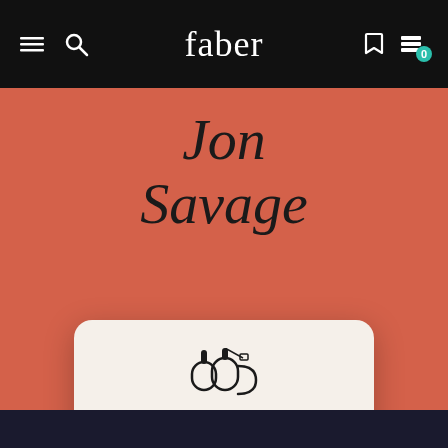faber
Jon Savage
[Figure (screenshot): Cookie consent modal dialog on Faber website. Contains a cookie/tea cup icon, text reading 'We use cookies to personalise your experience. By continuing to visit this website you agree to our use of cookies.', a teal 'Got It' button, and a 'Read Our Cookie Policy' link.]
We use cookies to personalise your experience. By continuing to visit this website you agree to our use of cookies.
Got It
Read Our Cookie Policy